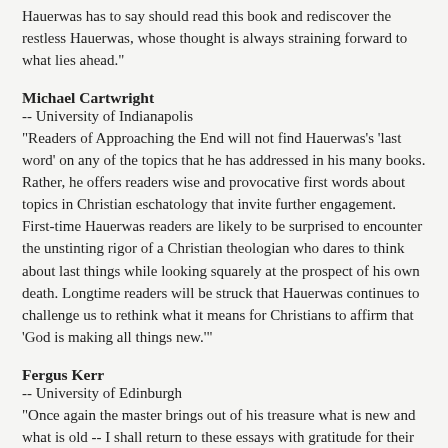Hauerwas has to say should read this book and rediscover the restless Hauerwas, whose thought is always straining forward to what lies ahead."
Michael Cartwright
-- University of Indianapolis
"Readers of Approaching the End will not find Hauerwas's ‘last word’ on any of the topics that he has addressed in his many books. Rather, he offers readers wise and provocative first words about topics in Christian eschatology that invite further engagement. First-time Hauerwas readers are likely to be surprised to encounter the unstinting rigor of a Christian theologian who dares to think about last things while looking squarely at the prospect of his own death. Longtime readers will be struck that Hauerwas continues to challenge us to rethink what it means for Christians to affirm that 'God is making all things new.'"
Fergus Kerr
-- University of Edinburgh
"Once again the master brings out of his treasure what is new and what is old -- I shall return to these essays with gratitude for their grace and insight."